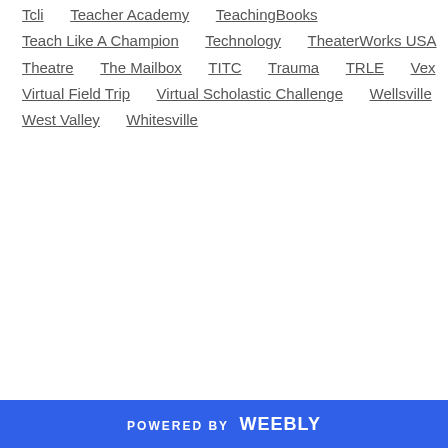Tcli
Teacher Academy
TeachingBooks
Teach Like A Champion
Technology
TheaterWorks USA
Theatre
The Mailbox
TITC
Trauma
TRLE
Vex
Virtual Field Trip
Virtual Scholastic Challenge
Wellsville
West Valley
Whitesville
POWERED BY weebly